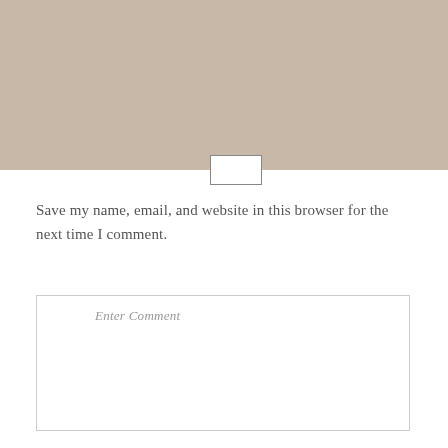[Figure (other): Beige/tan colored background block occupying the top portion of the page]
Save my name, email, and website in this browser for the next time I comment.
Enter Comment